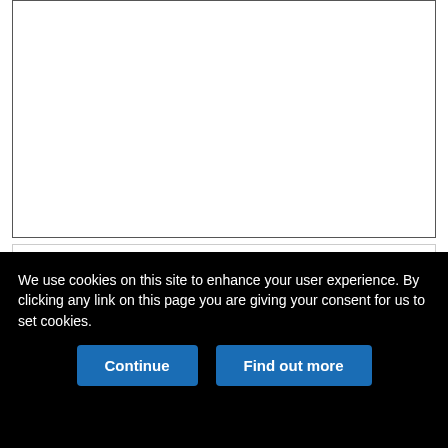[Figure (other): Empty white figure placeholder box with border]
Download figure
Open in new tab
We use cookies on this site to enhance your user experience. By clicking any link on this page you are giving your consent for us to set cookies.
Continue
Find out more